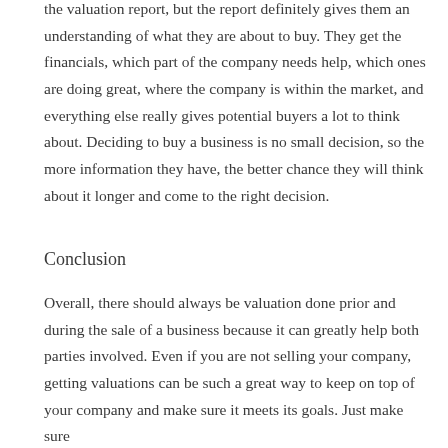the valuation report, but the report definitely gives them an understanding of what they are about to buy. They get the financials, which part of the company needs help, which ones are doing great, where the company is within the market, and everything else really gives potential buyers a lot to think about. Deciding to buy a business is no small decision, so the more information they have, the better chance they will think about it longer and come to the right decision.
Conclusion
Overall, there should always be valuation done prior and during the sale of a business because it can greatly help both parties involved. Even if you are not selling your company, getting valuations can be such a great way to keep on top of your company and make sure it meets its goals. Just make sure